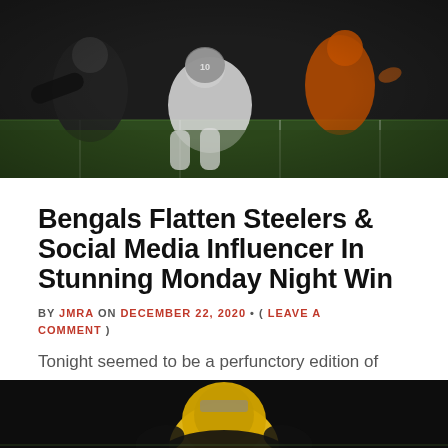[Figure (photo): Football players on the field during a night game, appearing to scramble for the ball.]
Bengals Flatten Steelers & Social Media Influencer In Stunning Monday Night Win
BY JMRA ON DECEMBER 22, 2020 • ( LEAVE A COMMENT )
Tonight seemed to be a perfunctory edition of Monday Night Football. After two losses, the previously 11-0 Pittsburgh Steelers would take care of business by handling the Cincinnati Bengals and their third-string quarterback, Ryan Finley.
[Figure (photo): Partial view of a football player at the bottom of the page.]